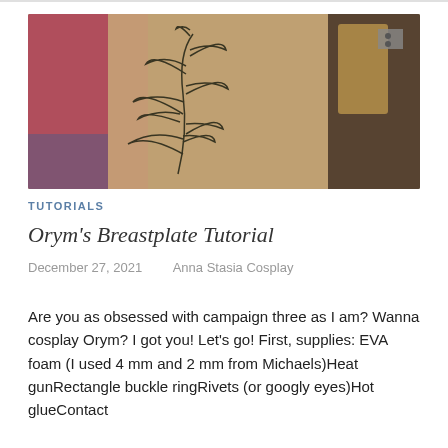[Figure (photo): A photo showing a piece of EVA foam with leaf designs drawn on it in black marker/pen. The foam appears tan/beige colored. In the background there is a pink/red surface and some wooden or hardware elements visible in the upper right corner.]
TUTORIALS
Orym's Breastplate Tutorial
December 27, 2021   Anna Stasia Cosplay
Are you as obsessed with campaign three as I am? Wanna cosplay Orym? I got you! Let's go! First, supplies: EVA foam (I used 4 mm and 2 mm from Michaels)Heat gunRectangle buckle ringRivets (or googly eyes)Hot glueContact